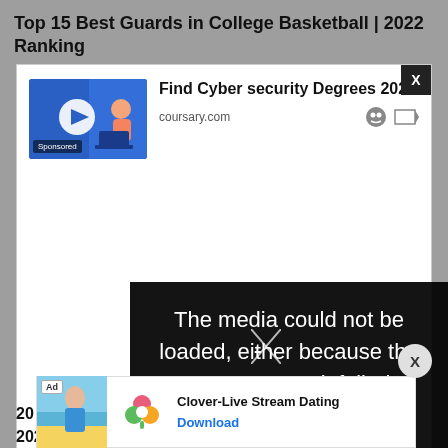Top 15 Best Guards in College Basketball | 2022 Ranking
[Figure (screenshot): Advertisement box with white background showing a cybersecurity course ad. Thumbnail image of person using laptop with blue graphic, 'Sponsored' label. Ad title: 'Find Cyber security Degrees 2022', source: 'coursary.com'. Large white empty area below. Error overlay in black: 'The media could not be loaded, either because the server or network failed or because the'. X close button top right. Round X button on right side.]
[Figure (screenshot): Bottom ad banner: Clover-Live Stream Dating app ad with beach photo thumbnail, heart clover icon, 'Ad' label, title 'Clover-Live Stream Dating', 'Download' button in blue.]
20 Be... ting, 2022...